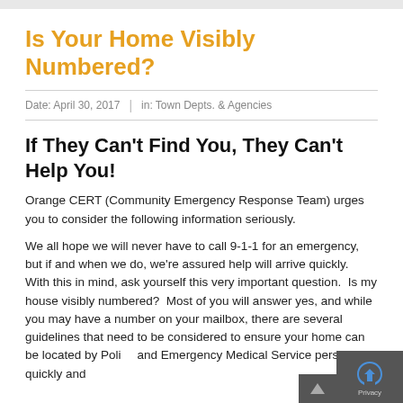Is Your Home Visibly Numbered?
Date: April 30, 2017  |  in: Town Depts. & Agencies
If They Can't Find You, They Can't Help You!
Orange CERT (Community Emergency Response Team) urges you to consider the following information seriously.
We all hope we will never have to call 9-1-1 for an emergency, but if and when we do, we're assured help will arrive quickly.  With this in mind, ask yourself this very important question.  Is my house visibly numbered?  Most of you will answer yes, and while you may have a number on your mailbox, there are several guidelines that need to be considered to ensure your home can be located by Police and Emergency Medical Service personnel quickly and